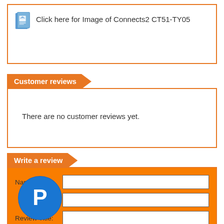[Figure (other): Document/image icon with link text: Click here for Image of Connects2 CT51-TY05]
Customer reviews
There are no customer reviews yet.
Write a review
Name: [input field]
[Figure (logo): PayPal circular logo button (blue with white P)]
Review Title: [input field]